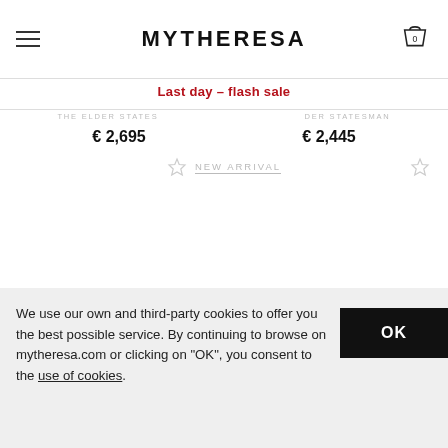MYTHERESA
Last day – flash sale
THE ELDER STATESMAN · THE ELDER STATESMAN
€ 2,695   € 2,445
NEW ARRIVAL
We use our own and third-party cookies to offer you the best possible service. By continuing to browse on mytheresa.com or clicking on "OK", you consent to the use of cookies.